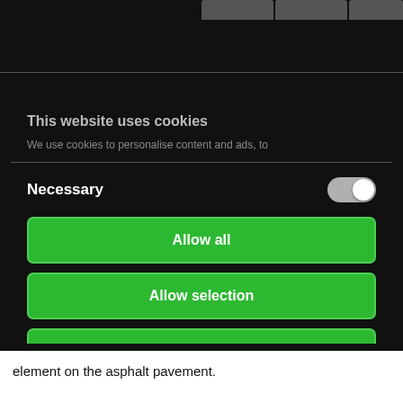[Figure (screenshot): Browser tab bar with dark background and three tab indicators at top right]
This website uses cookies
We use cookies to personalise content and ads, to
Necessary
[Figure (other): Toggle switch in on position (grey/white)]
Allow all
Allow selection
Deny
Powered by Cookiebot by Usercentrics
element on the asphalt pavement.